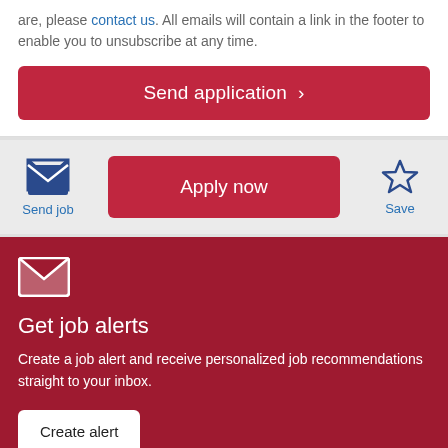are, please contact us. All emails will contain a link in the footer to enable you to unsubscribe at any time.
Send application >
[Figure (screenshot): Action bar with Send job (envelope icon), Apply now button, and Save (star icon)]
[Figure (screenshot): Dark red job alerts section with envelope icon, Get job alerts heading, description text, and Create alert button]